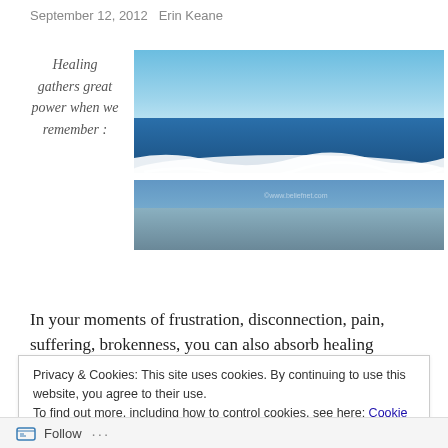September 12, 2012   Erin Keane
Healing gathers great power when we remember :
[Figure (photo): Ocean waves with white foam crashing on the shore under a clear blue sky. Watermark text visible: ©www.beliefnet.com]
In your moments of frustration, disconnection, pain, suffering, brokenness, you can also absorb healing
Privacy & Cookies: This site uses cookies. By continuing to use this website, you agree to their use.
To find out more, including how to control cookies, see here: Cookie Policy
Close and accept
Follow ...